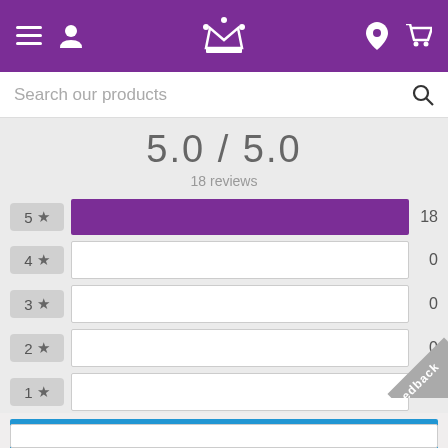[Figure (screenshot): Purple navigation header bar with hamburger menu, user icon, crown logo, location pin, and cart icons]
Search our products
5.0 / 5.0
18 reviews
[Figure (bar-chart): Star rating distribution]
SIGN IN TO WRITE A REVIEW
Feedback